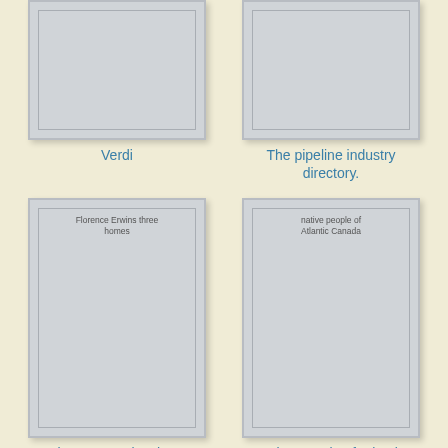[Figure (illustration): Book cover placeholder image (top left), gray rectangle with inner border, no visible text]
Verdi
[Figure (illustration): Book cover placeholder image (top right), gray rectangle with inner border, no visible text]
The pipeline industry directory.
[Figure (illustration): Book cover placeholder image (bottom left), gray rectangle with inner border, text reads 'Florence Erwins three homes']
Florence Erwins three homes
[Figure (illustration): Book cover placeholder image (bottom right), gray rectangle with inner border, text reads 'native people of Atlantic Canada']
native people of Atlantic Canada